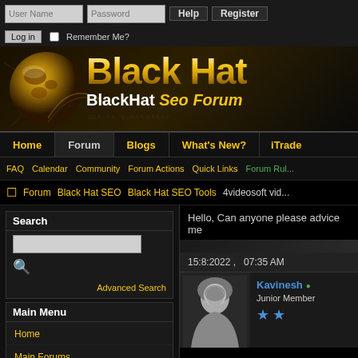User Name | Password | Log in | Remember Me? | Help | Register
[Figure (screenshot): Black Hat SEO Forum banner with globe and gold stylized text reading 'Black Hat' and 'BlackHat Seo Forum']
Home | Forum | Blogs | What's New? | iTrade
FAQ | Calendar | Community | Forum Actions | Quick Links | Forum Rules
Forum > Black Hat SEO > Black Hat SEO Tools > 4videosoft vid
Search
Advanced Search
Main Menu
Home
Main Forums
Hello, Can anyone please advice me
15:8:2022 ,   07:35 AM
Kavinesh • Junior Member